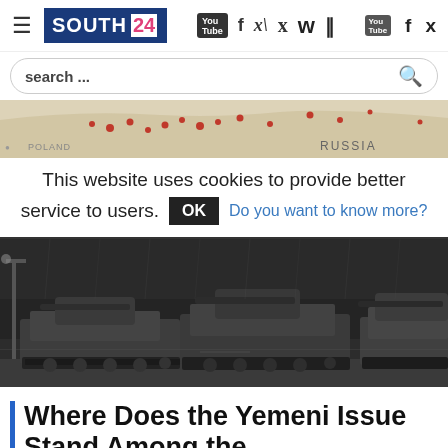SOUTH 24 — navigation header with hamburger menu and social icons (YouTube, Facebook, Twitter)
search ...
[Figure (map): Map showing POLAND and RUSSIA labels with red dot markers indicating conflict locations]
This website uses cookies to provide better service to users. OK Do you want to know more?
[Figure (photo): Military tanks driving on a road, dark and rainy conditions, multiple tanks in convoy]
Where Does the Yemeni Issue Stand Among the